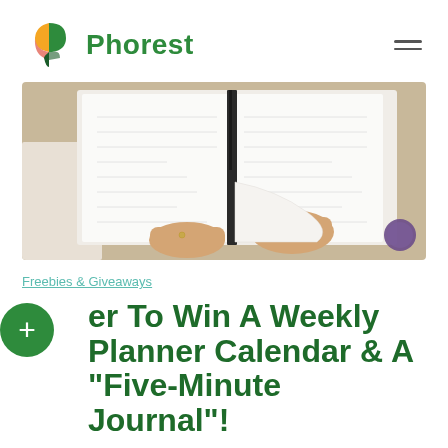Phorest
[Figure (photo): Hands holding open a planner/journal book with lined pages, photographed from above on a light background]
Freebies & Giveaways
Enter To Win A Weekly Planner Calendar & A "Five-Minute Journal"!